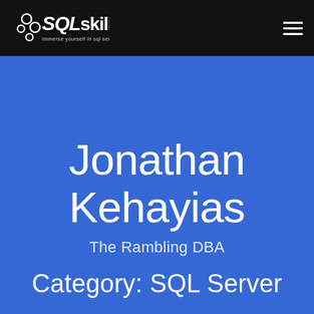SQLskills — immerse yourself in sql server
Jonathan Kehayias
The Rambling DBA
Category: SQL Server